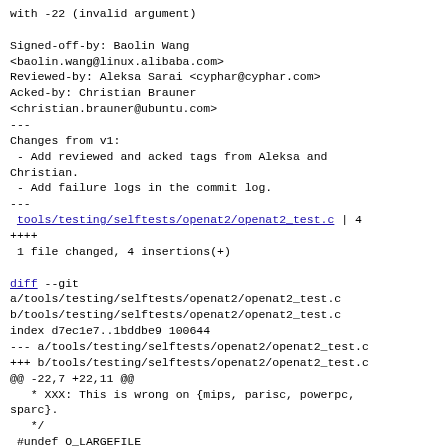with -22 (invalid argument)
Signed-off-by: Baolin Wang
<baolin.wang@linux.alibaba.com>
Reviewed-by: Aleksa Sarai <cyphar@cyphar.com>
Acked-by: Christian Brauner
<christian.brauner@ubuntu.com>
---
Changes from v1:
 - Add reviewed and acked tags from Aleksa and Christian.
 - Add failure logs in the commit log.
---
 tools/testing/selftests/openat2/openat2_test.c | 4 ++++
 1 file changed, 4 insertions(+)
diff --git
a/tools/testing/selftests/openat2/openat2_test.c
b/tools/testing/selftests/openat2/openat2_test.c
index d7ec1e7..1bddbe9 100644
--- a/tools/testing/selftests/openat2/openat2_test.c
+++ b/tools/testing/selftests/openat2/openat2_test.c
@@ -22,7 +22,11 @@
   * XXX: This is wrong on {mips, parisc, powerpc, sparc}.
   */
 #undef O_LARGEFILE
+#ifdef __aarch64__
+#define          O_LARGEFILE 0x20000
+#else